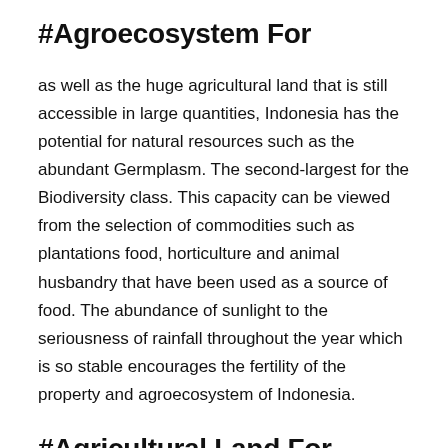#Agroecosystem For
as well as the huge agricultural land that is still accessible in large quantities, Indonesia has the potential for natural resources such as the abundant Germplasm. The second-largest for the Biodiversity class. This capacity can be viewed from the selection of commodities such as plantations food, horticulture and animal husbandry that have been used as a source of food. The abundance of sunlight to the seriousness of rainfall throughout the year which is so stable encourages the fertility of the property and agroecosystem of Indonesia.
#Agricultural Land For